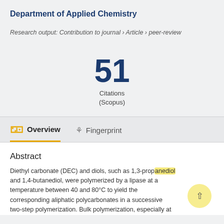Department of Applied Chemistry
Research output: Contribution to journal › Article › peer-review
51 Citations (Scopus)
Overview
Fingerprint
Abstract
Diethyl carbonate (DEC) and diols, such as 1,3-propanediol and 1,4-butanediol, were polymerized by a lipase at a temperature between 40 and 80°C to yield the corresponding aliphatic polycarbonates in a successive two-step polymerization. Bulk polymerization, especially at